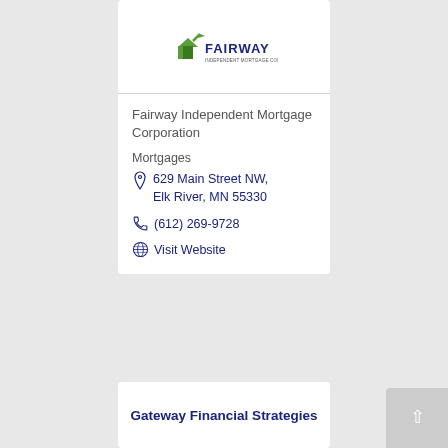[Figure (logo): Fairway Independent Mortgage Corporation logo - green house/arrow icon with FAIRWAY text in dark navy]
Fairway Independent Mortgage Corporation
Mortgages
629 Main Street NW, Elk River, MN 55330
(612) 269-9728
Visit Website
Gateway Financial Strategies